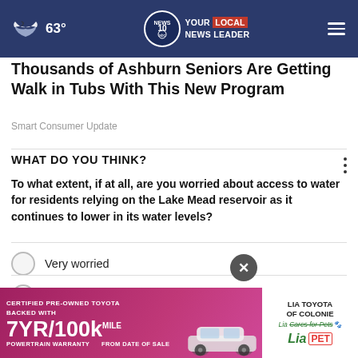63° NEWS 10 YOUR LOCAL NEWS LEADER
Thousands of Ashburn Seniors Are Getting Walk in Tubs With This New Program
Smart Consumer Update
WHAT DO YOU THINK?
To what extent, if at all, are you worried about access to water for residents relying on the Lake Mead reservoir as it continues to lower in its water levels?
Very worried
Somewhat worried
Not at all worried
Other
[Figure (infographic): Advertisement banner: Certified Pre-Owned Toyota with 7YR/100k mile powertrain warranty from date of sale, featuring a car image and Lia Toyota of Colonie branding]